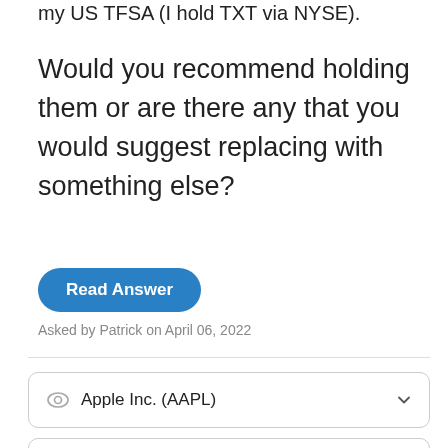my US TFSA (I hold TXT via NYSE).
Would you recommend holding them or are there any that you would suggest replacing with something else?
Read Answer
Asked by Patrick on April 06, 2022
Apple Inc. (AAPL)
Alphabet Inc. (GOOG)